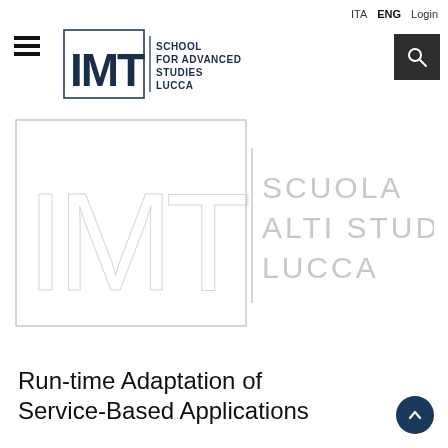ITA  ENG  Login
[Figure (logo): IMT School for Advanced Studies Lucca logo — dark blue square bracket frame with large IMT letters and text SCHOOL FOR ADVANCED STUDIES LUCCA]
[Figure (logo): IMT Scuola Alti Studi Lucca watermark logo in light gray, large outlined letters IMT with vertical bar and text SCUOLA ALTI STUDI LUCCA]
Run-time Adaptation of Service-Based Applications